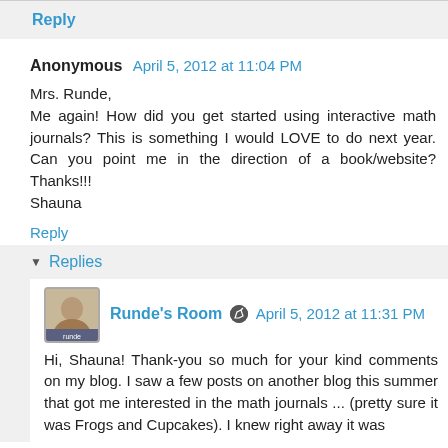Reply
Anonymous  April 5, 2012 at 11:04 PM
Mrs. Runde,
Me again! How did you get started using interactive math journals? This is something I would LOVE to do next year. Can you point me in the direction of a book/website? Thanks!!!
Shauna
Reply
Replies
Runde's Room  April 5, 2012 at 11:31 PM
Hi, Shauna! Thank-you so much for your kind comments on my blog. I saw a few posts on another blog this summer that got me interested in the math journals ... (pretty sure it was Frogs and Cupcakes). I knew right away it was